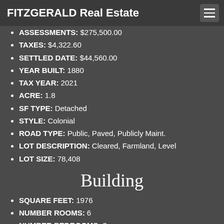FITZGERALD Real Estate
ASSESSMENTS: $275,500.00
TAXES: $4,322.60
SETTLED DATE: $44,560.00
YEAR BUILT: 1880
TAX YEAR: 2021
ACRE: 1.8
SF TYPE: Detached
STYLE: Colonial
ROAD TYPE: Public, Paved, Publicly Maint.
LOT DESCRIPTION: Cleared, Farmland, Level
LOT SIZE: 78,408
Building
SQUARE FEET: 1976
NUMBER ROOMS: 6
NUMBER BEDROOMS: 3
NUMBER FULL BATHS: 2